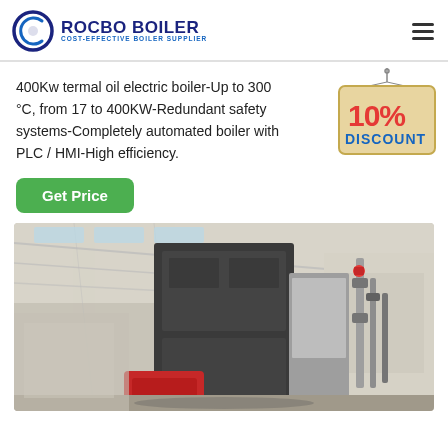ROCBO BOILER - COST-EFFECTIVE BOILER SUPPLIER
400Kw termal oil electric boiler-Up to 300 °C, from 17 to 400KW-Redundant safety systems-Completely automated boiler with PLC / HMI-High efficiency.
[Figure (illustration): 10% DISCOUNT badge sign hanging from a string, with red bold text '10%' and blue text 'DISCOUNT' on a beige/tan signboard background]
Get Price
[Figure (photo): Photo of a large industrial boiler system installed in a factory/warehouse building. A tall dark grey boiler unit is visible in the center with pipes, a red component at the base, and industrial piping on the right side. The building has a white ceiling with skylights.]